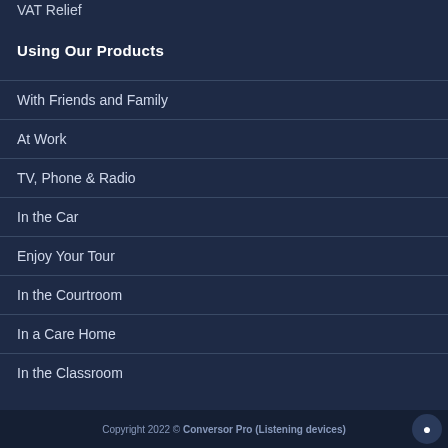VAT Relief
Using Our Products
With Friends and Family
At Work
TV, Phone & Radio
In the Car
Enjoy Your Tour
In the Courtroom
In a Care Home
In the Classroom
Copyright 2022 © Conversor Pro (Listening devices)